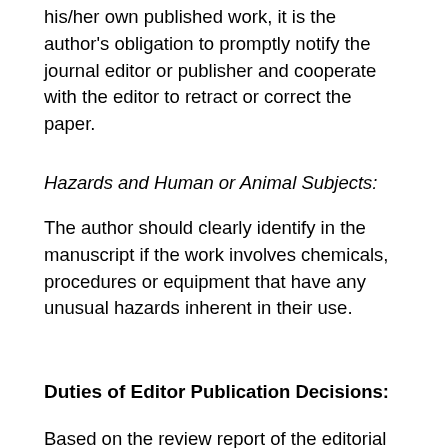his/her own published work, it is the author's obligation to promptly notify the journal editor or publisher and cooperate with the editor to retract or correct the paper.
Hazards and Human or Animal Subjects:
The author should clearly identify in the manuscript if the work involves chemicals, procedures or equipment that have any unusual hazards inherent in their use.
Duties of Editor
Publication Decisions:
Based on the review report of the editorial board, the editor can accept, reject, or request modifications to the manuscript. The validation of the work in question and its importance to researchers and readers must always drive such decisions.